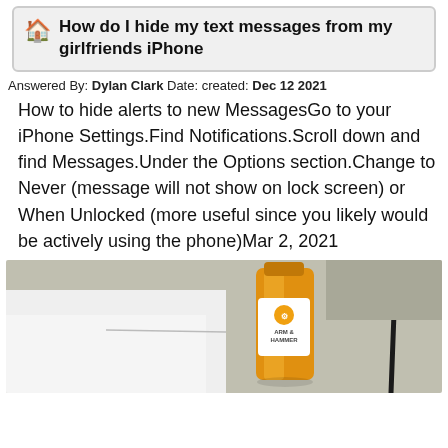How do I hide my text messages from my girlfriends iPhone
Answered By: Dylan Clark Date: created: Dec 12 2021
How to hide alerts to new MessagesGo to your iPhone Settings.Find Notifications.Scroll down and find Messages.Under the Options section.Change to Never (message will not show on lock screen) or When Unlocked (more useful since you likely would be actively using the phone)Mar 2, 2021
[Figure (photo): Photo of a white appliance surface with an Arm & Hammer laundry detergent bottle (yellow/orange) and a dark cable visible in the background on a counter or floor.]